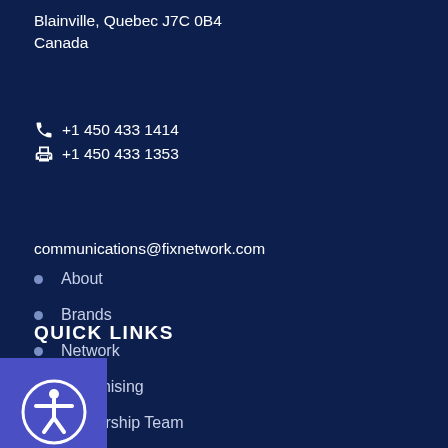Blainville, Quebec J7C 0B4
Canada
📞 +1 450 433 1414
🖨 +1 450 433 1353
communications@fixnetwork.com
QUICK LINKS
[Figure (other): Accessibility icon button - person in circle symbol on blue/purple square background]
About
Brands
Network
Franchising
Leadership Team